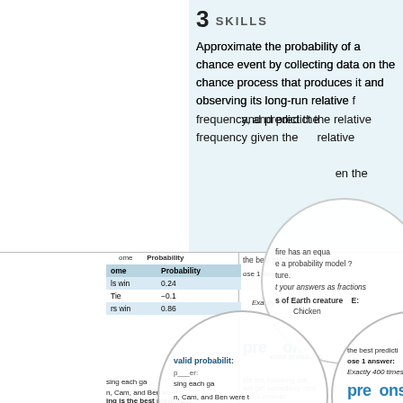3 SKILLS
Approximate the probability of a chance event by collecting data on the chance process that produces it and observing its long-run relative frequency, and predict the relative frequency given the
[Figure (other): Magnifier/zoom circle overlay showing partial worksheet text: 'fire has an equa', 'e a probability model ?', 'ture.', 't your answers as fractions', 'of Earth creature', 'Chicken']
| ome | Probability |
| --- | --- |
| ls win | 0.24 |
| Tie | -0.1 |
| rs win | 0.86 |
valid probability
the best predicti
ose 1 answer:
Exactly 400 times
predictions
sing each ga
n, Cam, and Ben were t... ing is the best prediction d game?
se 1 answer:
ete the following sta will get something othe
ose 1 answer:
Exactly 250 times